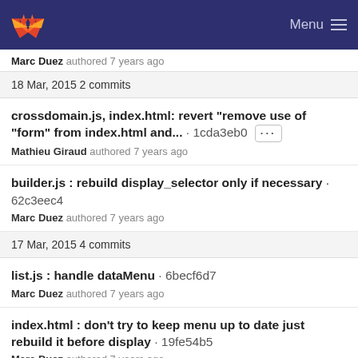Menu
Marc Duez authored 7 years ago
18 Mar, 2015 2 commits
crossdomain.js, index.html: revert "remove use of "form" from index.html and... · 1cda3eb0 ···
Mathieu Giraud authored 7 years ago
builder.js : rebuild display_selector only if necessary · 62c3eec4
Marc Duez authored 7 years ago
17 Mar, 2015 4 commits
list.js : handle dataMenu · 6becf6d7
Marc Duez authored 7 years ago
index.html : don't try to keep menu up to date just rebuild it before display · 19fe54b5
Marc Duez authored 7 years ago